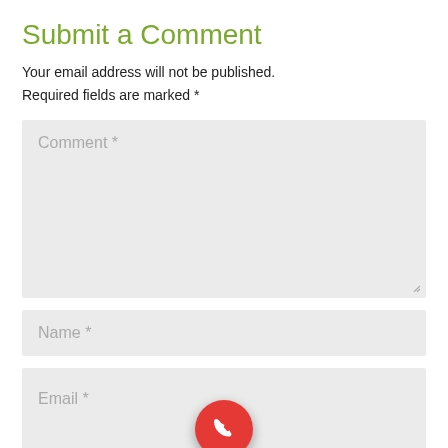Submit a Comment
Your email address will not be published.
Required fields are marked *
[Figure (screenshot): Comment text area input field with placeholder text 'Comment *' and resize handle]
[Figure (screenshot): Name input field with placeholder text 'Name *']
[Figure (screenshot): Email input field with placeholder text 'Email *' and a red circular phone/call floating action button overlaid on it]